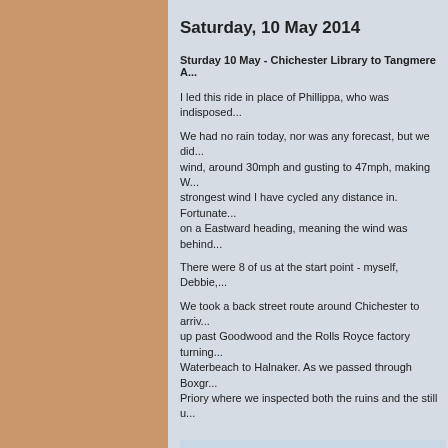Saturday, 10 May 2014
Sturday 10 May - Chichester Library to Tangmere A...
I led this ride in place of Phillippa, who was indisposed...
We had no rain today, nor was any forecast, but we did... wind, around 30mph and gusting to 47mph, making W... strongest wind I have cycled any distance in. Fortunate... on a Eastward heading, meaning the wind was behind...
There were 8 of us at the start point  - myself, Debbie,...
We took a back street route around Chichester to arriv... up past Goodwood and the Rolls Royce factory turning... Waterbeach to Halnaker. As we passed through Boxgr... Priory where we inspected both the ruins and the still u...
[Figure (photo): Ruins of a stone priory or church building with arched windows against a partly cloudy sky]